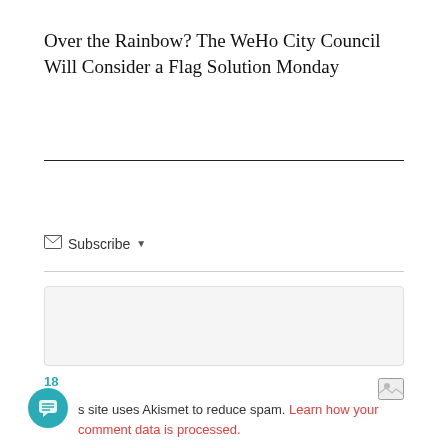Over the Rainbow? The WeHo City Council Will Consider a Flag Solution Monday
☑ Subscribe ▼
2000
Join the discussion
18
s site uses Akismet to reduce spam. Learn how your comment data is processed.